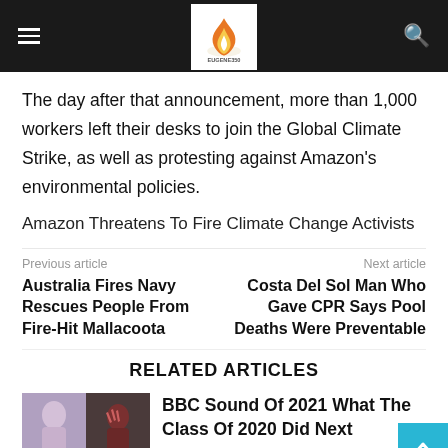Eugene350 website header with hamburger menu, logo, and search icon
The day after that announcement, more than 1,000 workers left their desks to join the Global Climate Strike, as well as protesting against Amazon's environmental policies.
Amazon Threatens To Fire Climate Change Activists
Previous article
Australia Fires Navy Rescues People From Fire-Hit Mallacoota
Next article
Costa Del Sol Man Who Gave CPR Says Pool Deaths Were Preventable
RELATED ARTICLES
[Figure (photo): Thumbnail images for BBC Sound Of 2021 article]
BBC Sound Of 2021 What The Class Of 2020 Did Next